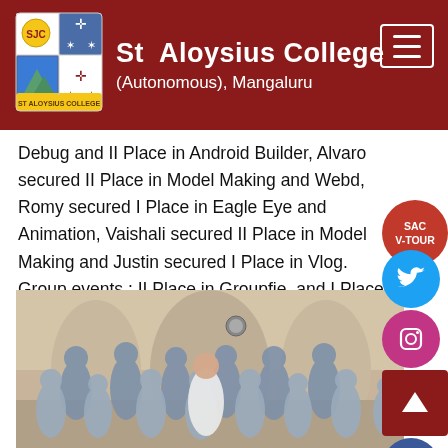St Aloysius College (Autonomous), Mangaluru
Debug and II Place in Android Builder, Alvaro secured II Place in Model Making and Webd, Romy secured I Place in Eagle Eye and Animation, Vaishali secured II Place in Model Making and Justin secured I Place in Vlog. Group events : II Place in Groupfie  and I Place in Ice Breaker.
[Figure (photo): Group photo of students and faculty at St Aloysius College, standing together in a corridor/archway area.]